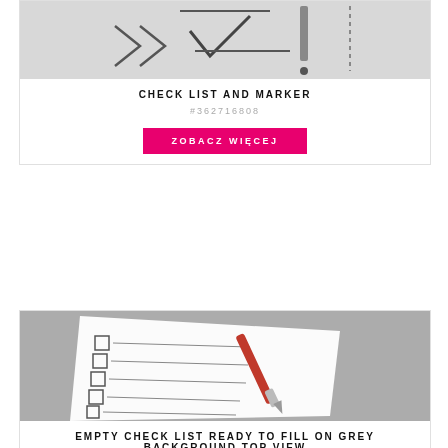[Figure (photo): Top portion of a check list and marker image, partially cropped at top]
CHECK LIST AND MARKER
#362716808
ZOBACZ WIĘCEJ
[Figure (photo): Empty check list ready to fill on grey background top view - a white paper with checkboxes and a red pen on grey stone background]
EMPTY CHECK LIST READY TO FILL ON GREY BACKGROUND TOP VIEW
#302369045
ZOBACZ WIĘCEJ